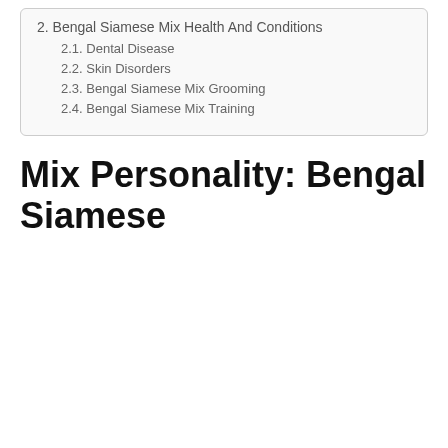2. Bengal Siamese Mix Health And Conditions
2.1. Dental Disease
2.2. Skin Disorders
2.3. Bengal Siamese Mix Grooming
2.4. Bengal Siamese Mix Training
Mix Personality: Bengal Siamese